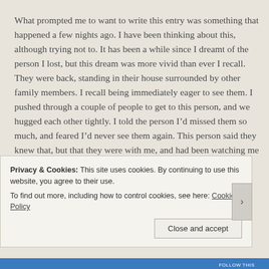What prompted me to want to write this entry was something that happened a few nights ago. I have been thinking about this, although trying not to. It has been a while since I dreamt of the person I lost, but this dream was more vivid than ever I recall. They were back, standing in their house surrounded by other family members. I recall being immediately eager to see them. I pushed through a couple of people to get to this person, and we hugged each other tightly. I told the person I’d missed them so much, and feared I’d never see them again. This person said they knew that, but that they were with me, and had been watching me and were proud of me.
It was my final dream before waking. I got up and sat on the
Privacy & Cookies: This site uses cookies. By continuing to use this website, you agree to their use.
To find out more, including how to control cookies, see here: Cookie Policy